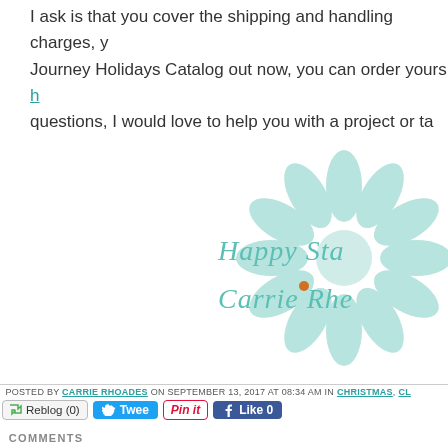I ask is that you cover the shipping and handling charges, y Journey Holidays Catalog out now, you can order yours h questions, I would love to help you with a project or ta
[Figure (illustration): Decorative blog signature image with a large light teal/mint daisy flower in the background and cursive teal text reading 'Happy Sta' and 'Carrie Rho' with an orange dot between the lines]
POSTED BY CARRIE RHOADES ON SEPTEMBER 13, 2017 AT 08:34 AM IN CHRISTMAS, CL
[Figure (screenshot): Row of social sharing buttons: Reblog (0), Tweet, Pin it, Like 0]
COMMENTS
You can follow this conversation by subscribing to the comm